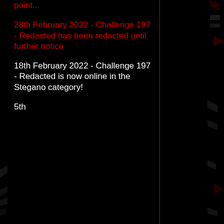point...
28th February 2022 - Challenge 197 - Redacted has been redacted until further notice
18th February 2022 - Challenge 197 - Redacted is now online in the Stegano category!
5th